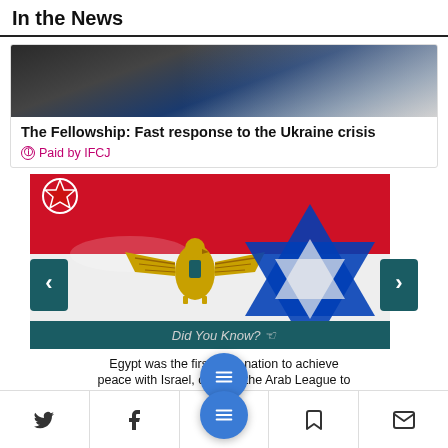In the News
[Figure (photo): Photo of people, partially visible at top of ad card]
The Fellowship: Fast response to the Ukraine crisis
Paid by IFCJ
[Figure (photo): Interactive carousel showing Egyptian flag overlaid with Star of David (blue). Navigation arrows on left and right. Red star badge top-left. 'Did You Know?' bar in teal. Text reads: Egypt was the first Arab nation to achieve peace with Israel, causing the Arab League to suspend th... 1979-1989.]
Twitter | Facebook | Menu | Bookmark | Email